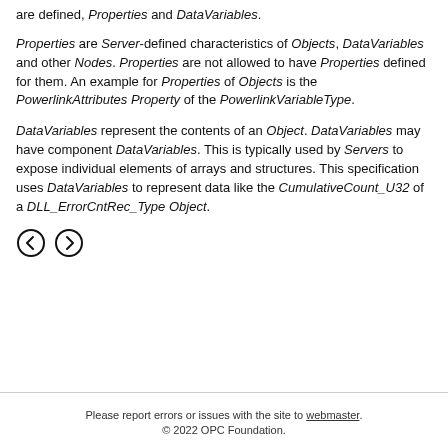are defined, Properties and DataVariables.
Properties are Server-defined characteristics of Objects, DataVariables and other Nodes. Properties are not allowed to have Properties defined for them. An example for Properties of Objects is the PowerlinkAttributes Property of the PowerlinkVariableType.
DataVariables represent the contents of an Object. DataVariables may have component DataVariables. This is typically used by Servers to expose individual elements of arrays and structures. This specification uses DataVariables to represent data like the CumulativeCount_U32 of a DLL_ErrorCntRec_Type Object.
[Figure (other): Navigation icons: left arrow circle and right arrow circle]
Please report errors or issues with the site to webmaster. © 2022 OPC Foundation.